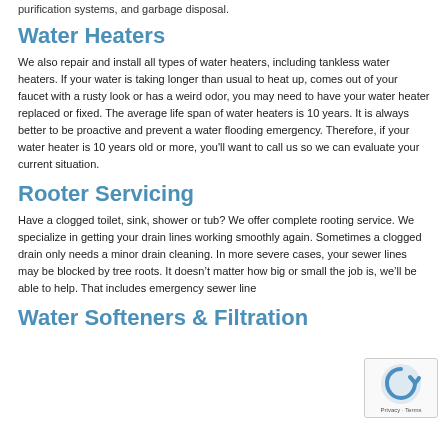purification systems, and garbage disposal.
Water Heaters
We also repair and install all types of water heaters, including tankless water heaters. If your water is taking longer than usual to heat up, comes out of your faucet with a rusty look or has a weird odor, you may need to have your water heater replaced or fixed. The average life span of water heaters is 10 years. It is always better to be proactive and prevent a water flooding emergency. Therefore, if your water heater is 10 years old or more, you'll want to call us so we can evaluate your current situation.
Rooter Servicing
Have a clogged toilet, sink, shower or tub? We offer complete rooting service. We specialize in getting your drain lines working smoothly again. Sometimes a clogged drain only needs a minor drain cleaning. In more severe cases, your sewer lines may be blocked by tree roots. It doesn't matter how big or small the job is, we'll be able to help. That includes emergency sewer line
Water Softeners & Filtration